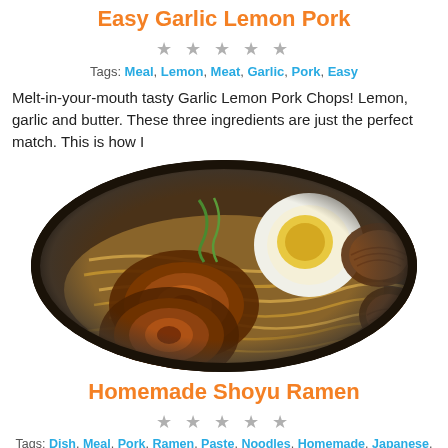Easy Garlic Lemon Pork
☆ ☆ ☆ ☆ ☆
Tags: Meal, Lemon, Meat, Garlic, Pork, Easy
Melt-in-your-mouth tasty Garlic Lemon Pork Chops! Lemon, garlic and butter. These three ingredients are just the perfect match. This is how I
[Figure (photo): A bowl of ramen noodle soup with chashu pork slices, a soft-boiled egg, shiitake mushrooms, and noodles in dark broth, viewed from above in a dark ceramic bowl.]
Homemade Shoyu Ramen
☆ ☆ ☆ ☆ ☆
Tags: Dish, Meal, Pork, Ramen, Paste, Noodles, Homemade, Japanese, Japan
Shoyu ramen is a ramen noodle dish flavored with shoyu, the Japanese